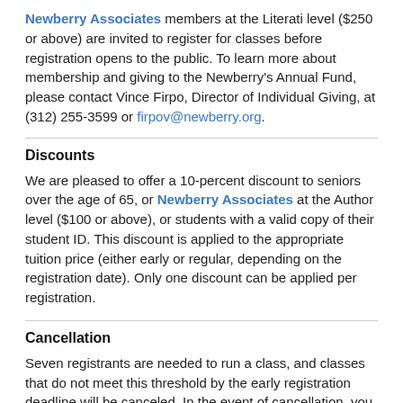Newberry Associates members at the Literati level ($250 or above) are invited to register for classes before registration opens to the public. To learn more about membership and giving to the Newberry's Annual Fund, please contact Vince Firpo, Director of Individual Giving, at (312) 255-3599 or firpov@newberry.org.
Discounts
We are pleased to offer a 10-percent discount to seniors over the age of 65, or Newberry Associates at the Author level ($100 or above), or students with a valid copy of their student ID. This discount is applied to the appropriate tuition price (either early or regular, depending on the registration date). Only one discount can be applied per registration.
Cancellation
Seven registrants are needed to run a class, and classes that do not meet this threshold by the early registration deadline will be canceled. In the event of cancellation, you will be notified, and your tuition payment will be refunded in full.